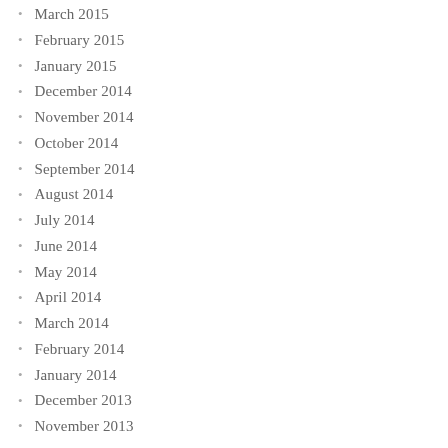March 2015
February 2015
January 2015
December 2014
November 2014
October 2014
September 2014
August 2014
July 2014
June 2014
May 2014
April 2014
March 2014
February 2014
January 2014
December 2013
November 2013